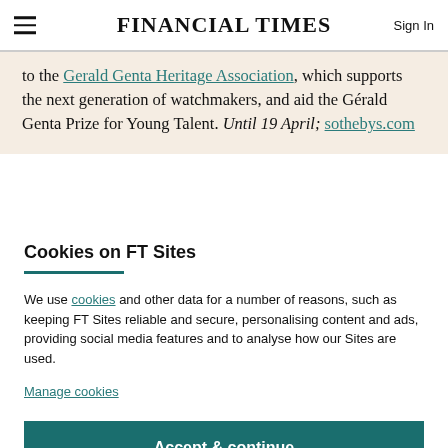FINANCIAL TIMES
to the Gerald Genta Heritage Association, which supports the next generation of watchmakers, and aid the Gérald Genta Prize for Young Talent. Until 19 April; sothebys.com
Cookies on FT Sites
We use cookies and other data for a number of reasons, such as keeping FT Sites reliable and secure, personalising content and ads, providing social media features and to analyse how our Sites are used.
Manage cookies
Accept & continue